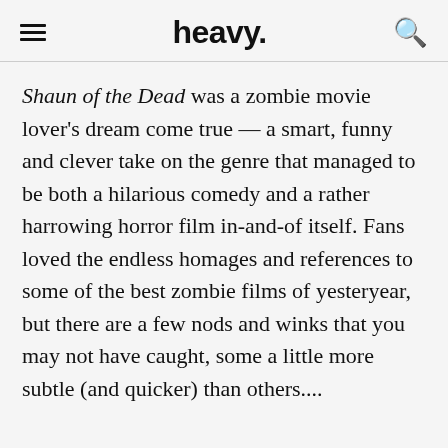heavy.
Shaun of the Dead was a zombie movie lover's dream come true — a smart, funny and clever take on the genre that managed to be both a hilarious comedy and a rather harrowing horror film in-and-of itself. Fans loved the endless homages and references to some of the best zombie films of yesteryear, but there are a few nods and winks that you may not have caught, some a little more subtle (and quicker) than others....